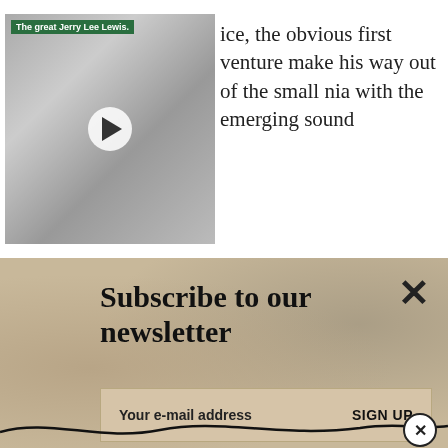[Figure (photo): Black and white video thumbnail of Jerry Lee Lewis, a young man smiling with hand near face, with a play button overlay and green label 'The great Jerry Lee Lewis.']
ice, the obvious first venture make his way out of the small nia with the emerging sound
Subscribe to our newsletter
Your e-mail address   SIGN UP
whose musical education would fit the sensibilities of the genre. It succeeded in getting him to Cleveland, Ohio.